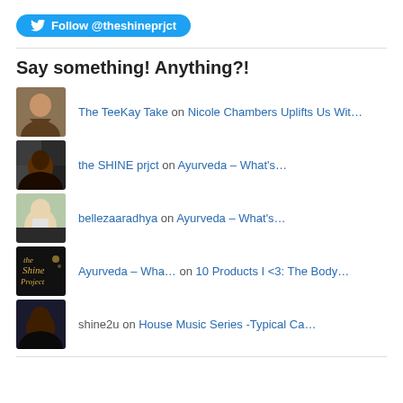[Figure (other): Twitter Follow button with bird icon and text 'Follow @theshineprjct']
Say something! Anything?!
The TeeKay Take on Nicole Chambers Uplifts Us Wit…
the SHINE prjct on Ayurveda – What's…
bellezaaradhya on Ayurveda – What's…
Ayurveda – Wha… on 10 Products I <3: The Body…
shine2u on House Music Series -Typical Ca…